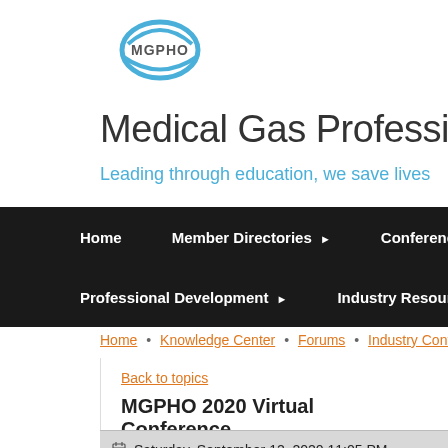[Figure (logo): MGPHO logo with circular swoosh design in blue and gray]
Medical Gas Professional
Leading through education, we save lives
Home  Member Directories ▶  Conferences & M  Professional Development ▶  Industry Resources
Home • Knowledge Center • Forums • Industry Confe
Back to topics
MGPHO 2020 Virtual Conference
Saturday, September 12, 2020 11:05 PM